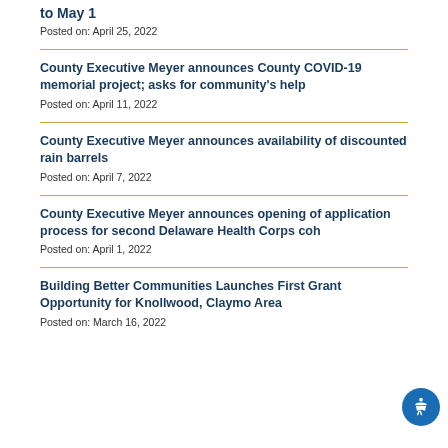to May 1
Posted on: April 25, 2022
County Executive Meyer announces County COVID-19 memorial project; asks for community's help
Posted on: April 11, 2022
County Executive Meyer announces availability of discounted rain barrels
Posted on: April 7, 2022
County Executive Meyer announces opening of application process for second Delaware Health Corps coh
Posted on: April 1, 2022
Building Better Communities Launches First Grant Opportunity for Knollwood, Claymo… Area
Posted on: March 16, 2022